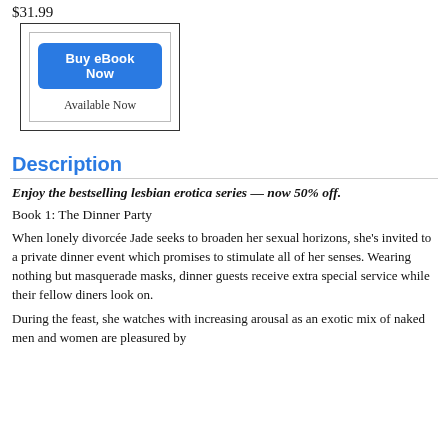$31.99
[Figure (other): Buy eBook Now button inside a bordered box with 'Available Now' text below]
Description
Enjoy the bestselling lesbian erotica series — now 50% off.
Book 1: The Dinner Party
When lonely divorcée Jade seeks to broaden her sexual horizons, she's invited to a private dinner event which promises to stimulate all of her senses. Wearing nothing but masquerade masks, dinner guests receive extra special service while their fellow diners look on.
During the feast, she watches with increasing arousal as an exotic mix of naked men and women are pleasured by